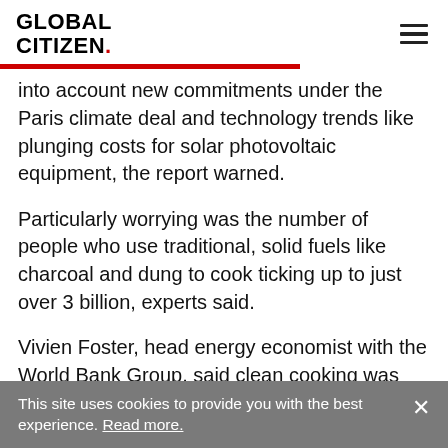GLOBAL CITIZEN.
into account new commitments under the Paris climate deal and technology trends like plunging costs for solar photovoltaic equipment, the report warned.
Particularly worrying was the number of people who use traditional, solid fuels like charcoal and dung to cook ticking up to just over 3 billion, experts said.
Vivien Foster, head energy economist with the World Bank Group, said clean cooking was the "Cinderella" of energy initiatives, despite
This site uses cookies to provide you with the best experience. Read more.